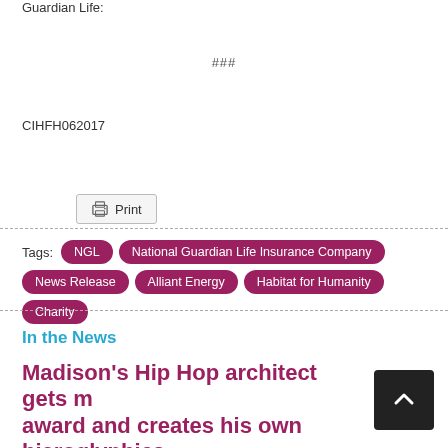Guardian Life:
###
CIHFH062017
Print
Tags: NGL  National Guardian Life Insurance Company  News Release  Alliant Energy  Habitat for Humanity  Charity
In the News
Madison's Hip Hop architect gets m… award and creates his own hieroglyphics